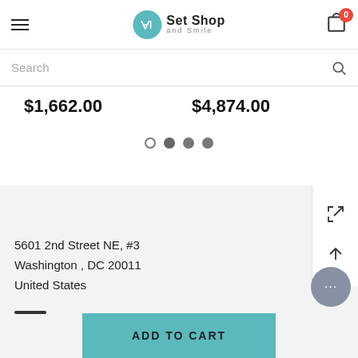Set Shop and Smile — navigation header with hamburger menu and cart (0 items)
Search
$1,662.00
$4,874.00
[Figure (other): Carousel navigation dots: one outline dot and three filled dots]
5601 2nd Street NE, #3
Washington , DC 20011
United States
[Figure (other): ADD TO CART button in teal color]
[Figure (other): Chat support bubble icon (gray circle with ellipsis)]